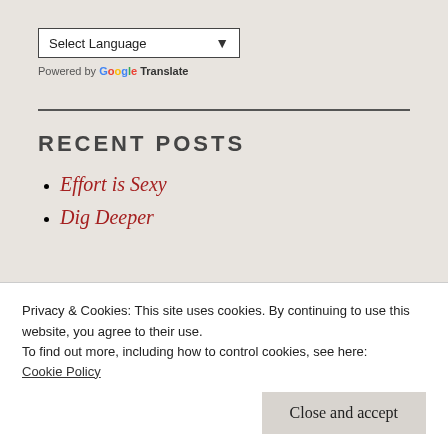[Figure (other): Language selector dropdown widget reading 'Select Language' with a dropdown arrow, followed by 'Powered by Google Translate' text.]
RECENT POSTS
Effort is Sexy
Dig Deeper
Privacy & Cookies: This site uses cookies. By continuing to use this website, you agree to their use.
To find out more, including how to control cookies, see here:
Cookie Policy
We're More Offended by FUCK Th…